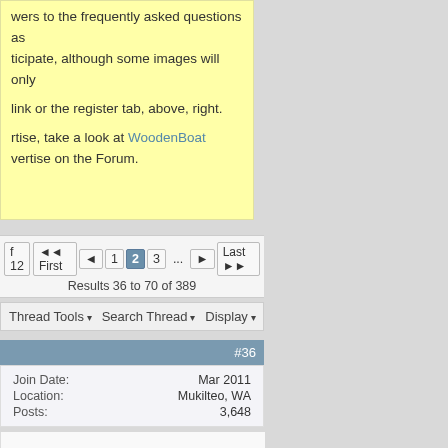wers to the frequently asked questions as ticipate, although some images will only

link or the register tab, above, right.

rtise, take a look at WoodenBoat
vertise on the Forum.
f 12   First  1  2  3  ...  Last
Results 36 to 70 of 389
Thread Tools  Search Thread  Display
#36
| Join Date: | Mar 2011 |
| Location: | Mukilteo, WA |
| Posts: | 3,648 |